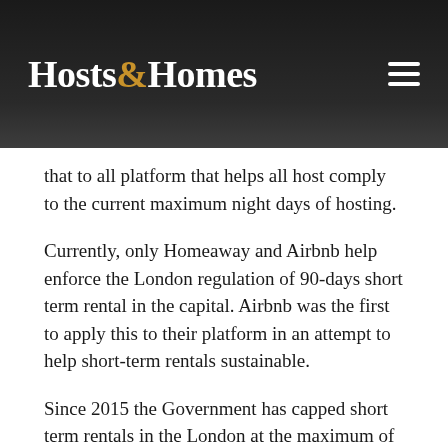Hosts & Homes
that to all platform that helps all host comply to the current maximum night days of hosting.
Currently, only Homeaway and Airbnb help enforce the London regulation of 90-days short term rental in the capital. Airbnb was the first to apply this to their platform in an attempt to help short-term rentals sustainable.
Since 2015 the Government has capped short term rentals in the London at the maximum of 90 night per calendar year. Booking on Airbnb of 90-days or greater are not considered short-term stays per the 2015 Deregulation Act, these longer